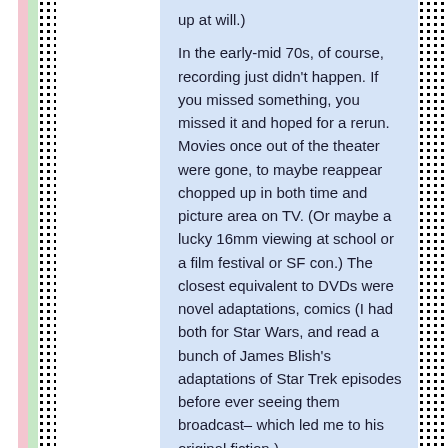up at will.)
In the early-mid 70s, of course, recording just didn't happen. If you missed something, you missed it and hoped for a rerun. Movies once out of the theater were gone, to maybe reappear chopped up in both time and picture area on TV. (Or maybe a lucky 16mm viewing at school or a film festival or SF con.) The closest equivalent to DVDs were novel adaptations, comics (I had both for Star Wars, and read a bunch of James Blish's adaptations of Star Trek episodes before ever seeing them broadcast– which led me to his original fiction.)
(And occasionally "fotonovels": still photos taken from the production and laid out and dialoged like comics– I had a bunch of those for Star Trek.)